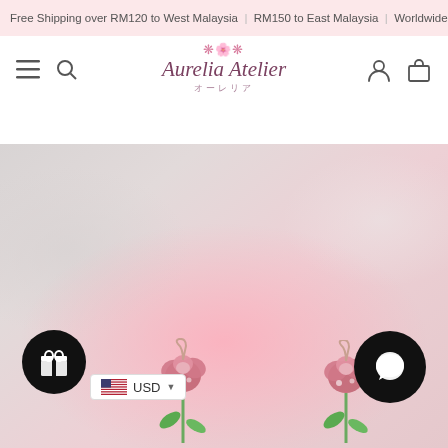Free Shipping over RM120 to West Malaysia | RM150 to East Malaysia | Worldwide
[Figure (logo): Aurelia Atelier logo with decorative roses and Japanese text オーレリア]
[Figure (photo): Product photo of rose-shaped earrings (rose gold with pink enamel and crystals, with green leaf stems) against a soft pink and grey blurred background. Two earrings visible at bottom center. UI overlays: gift loyalty button (bottom-left), chat button (bottom-right), USD currency selector (bottom-left).]